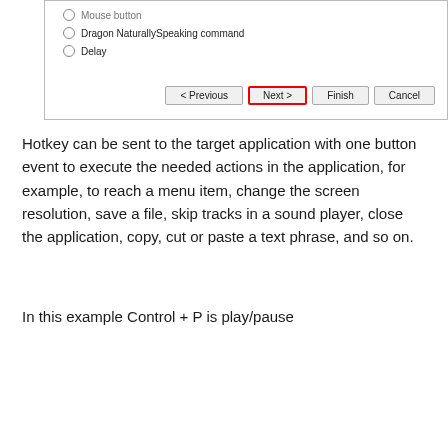[Figure (screenshot): Dialog box with radio button options including 'Mouse button' (partially visible), 'Dragon NaturallySpeaking command', and 'Delay'. Navigation buttons at bottom: Previous, Next (highlighted in red border), Finish, Cancel.]
Hotkey can be sent to the target application with one button event to execute the needed actions in the application, for example, to reach a menu item, change the screen resolution, save a file, skip tracks in a sound player, close the application, copy, cut or paste a text phrase, and so on.
In this example Control + P is play/pause
[Figure (screenshot): Edit operation dialog box showing Name field with 'WMP-Play', Operation steps table with Type column showing 'Hotkey' and Value column showing 'Control + P'. Action buttons on the right: Add (bold/highlighted), Edit, Delete, Up, Down.]